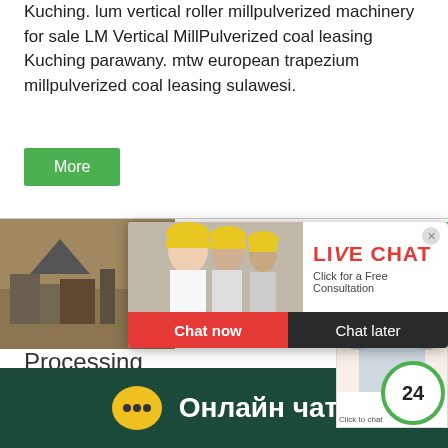Kuching. lum vertical roller millpulverized machinery for sale LM Vertical MillPulverized coal leasing Kuching parawany. mtw european trapezium millpulverized coal leasing sulawesi.
More
[Figure (screenshot): Live chat popup modal overlay showing workers in hard hats, LIVE CHAT title in red, 'Click for a Free Consultation' subtitle, Chat now (red) and Chat later (dark) buttons]
Processing
Hgm Powder Millpulverized Coal Proces Ygm Suspension Millpulverized Machine
[Figure (screenshot): Customer service widget on right side showing woman with headset and 24-hour clock icon with 'Click to chat' text]
Онлайн чат